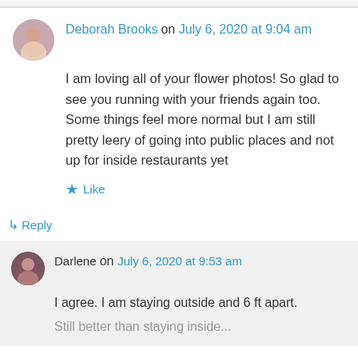Deborah Brooks on July 6, 2020 at 9:04 am
I am loving all of your flower photos! So glad to see you running with your friends again too. Some things feel more normal but I am still pretty leery of going into public places and not up for inside restaurants yet
Like
Reply
Darlene on July 6, 2020 at 9:53 am
I agree. I am staying outside and 6 ft apart.
Still better than staying inside...